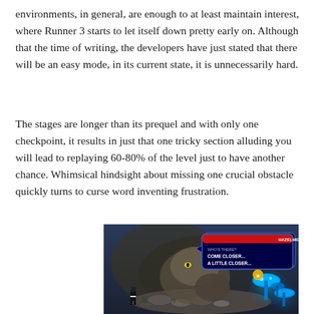environments, in general, are enough to at least maintain interest, where Runner 3 starts to let itself down pretty early on. Although that the time of writing, the developers have just stated that there will be an easy mode, in its current state, it is unnecessarily hard.
The stages are longer than its prequel and with only one checkpoint, it results in just that one tricky section alluding you will lead to replaying 60-80% of the level just to have another chance. Whimsical hindsight about missing one crucial obstacle quickly turns to curse word inventing frustration.
[Figure (screenshot): Screenshot from Runner 3 video game showing a character on a stone path with glowing blue mushrooms on the right side and a large creature/boss in the background. A dialogue box in the upper right shows 'HAZELMEND' speaking: 'WHO'S THERE? COME CLOSER... A LITTLE CLOSER...']